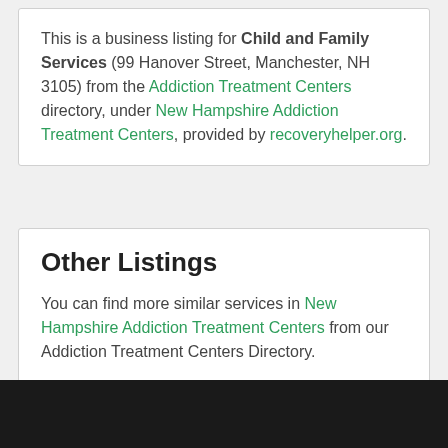This is a business listing for Child and Family Services (99 Hanover Street, Manchester, NH 3105) from the Addiction Treatment Centers directory, under New Hampshire Addiction Treatment Centers, provided by recoveryhelper.org.
Other Listings
You can find more similar services in New Hampshire Addiction Treatment Centers from our Addiction Treatment Centers Directory.